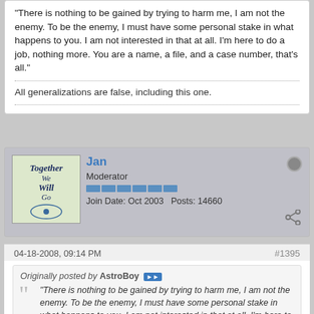"There is nothing to be gained by trying to harm me, I am not the enemy. To be the enemy, I must have some personal stake in what happens to you. I am not interested in that at all. I'm here to do a job, nothing more. You are a name, a file, and a case number, that's all."
All generalizations are false, including this one.
Jan
Moderator
Join Date: Oct 2003   Posts: 14660
04-18-2008, 09:14 PM
#1395
Originally posted by AstroBoy
"There is nothing to be gained by trying to harm me, I am not the enemy. To be the enemy, I must have some personal stake in what happens to you. I am not interested in that at all. I'm here to do a job, nothing more. You are a name, a file, and a case number, that's all."